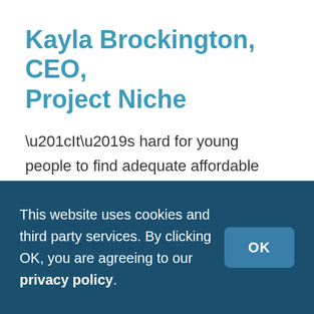Kayla Brockington, CEO, Project Niche
“It’s hard for young people to find adequate affordable housing if they choose not to go to college or don’t have parents they can live with,” says Kayla Brockington, who founded Project
This website uses cookies and third party services. By clicking OK, you are agreeing to our privacy policy.